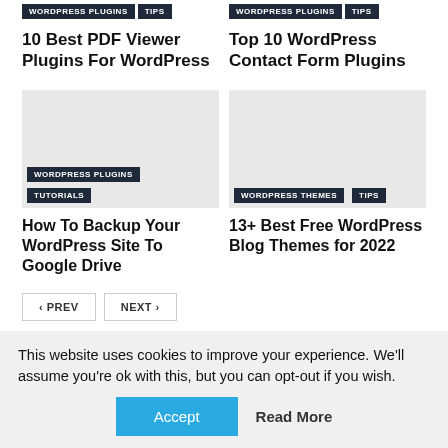WORDPRESS PLUGINS | TIPS (top left tags)
WORDPRESS PLUGINS | TIPS (top right tags)
10 Best PDF Viewer Plugins For WordPress
Top 10 WordPress Contact Form Plugins
[Figure (photo): Gray placeholder image for article about backing up WordPress to Google Drive]
[Figure (photo): Gray placeholder image for article about free WordPress blog themes]
WORDPRESS PLUGINS
TUTORIALS
WORDPRESS THEMES
TIPS
How To Backup Your WordPress Site To Google Drive
13+ Best Free WordPress Blog Themes for 2022
< PREV
NEXT >
This website uses cookies to improve your experience. We'll assume you're ok with this, but you can opt-out if you wish.
Accept
Read More